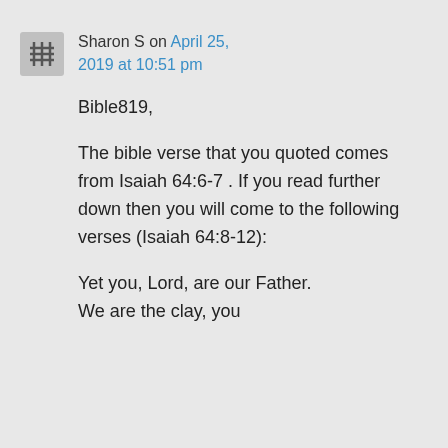Sharon S on April 25, 2019 at 10:51 pm
Bible819,
The bible verse that you quoted comes from Isaiah 64:6-7 . If you read further down then you will come to the following verses (Isaiah 64:8-12):
Yet you, Lord, are our Father.
We are the clay, you